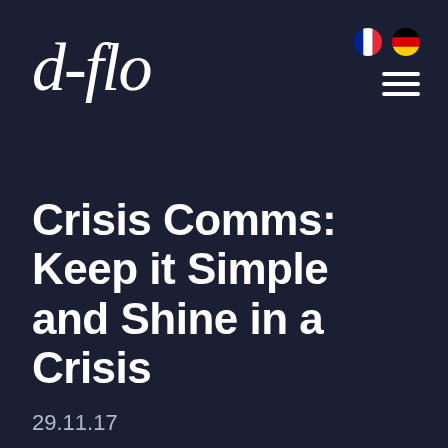[Figure (logo): d-flo logo in white italic handwritten-style font]
[Figure (illustration): French and German flag circles in top right, plus hamburger menu icon]
Crisis Comms: Keep it Simple and Shine in a Crisis
29.11.17